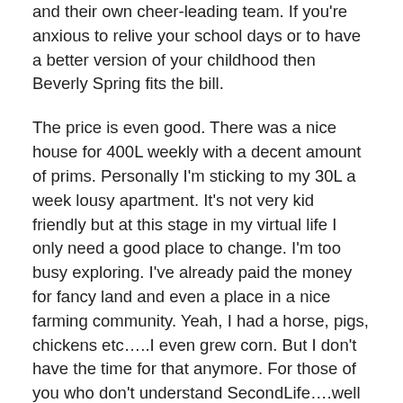and their own cheer-leading team. If you're anxious to relive your school days or to have a better version of your childhood then Beverly Spring fits the bill.
The price is even good. There was a nice house for 400L weekly with a decent amount of prims. Personally I'm sticking to my 30L a week lousy apartment. It's not very kid friendly but at this stage in my virtual life I only need a good place to change. I'm too busy exploring. I've already paid the money for fancy land and even a place in a nice farming community. Yeah, I had a horse, pigs, chickens etc…..I even grew corn. But I don't have the time for that anymore. For those of you who don't understand SecondLife….well just imagine a beefed up version of farmville. I prefer my virtual experience to be as close to reality as possible. Anywho, if I had the money and the